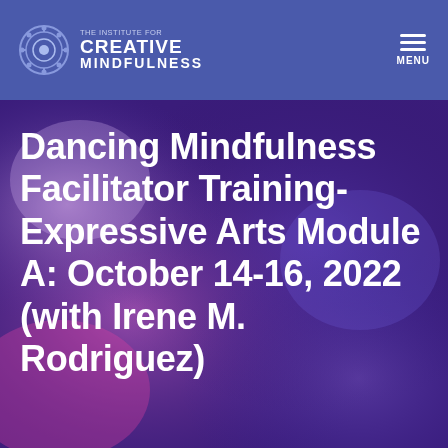The Institute for Creative Mindfulness
Dancing Mindfulness Facilitator Training- Expressive Arts Module A: October 14-16, 2022 (with Irene M. Rodriguez)